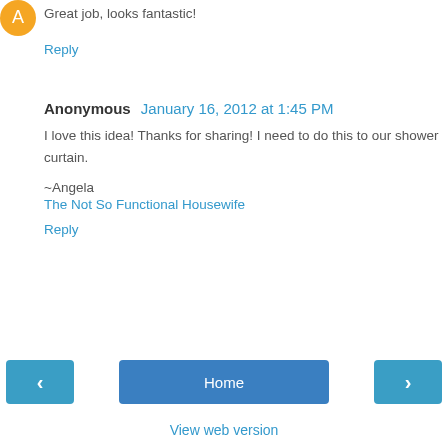Great job, looks fantastic!
Reply
Anonymous  January 16, 2012 at 1:45 PM
I love this idea! Thanks for sharing! I need to do this to our shower curtain.

~Angela
The Not So Functional Housewife
Reply
[Figure (other): Navigation bar with left arrow button, Home button, and right arrow button, plus View web version link below]